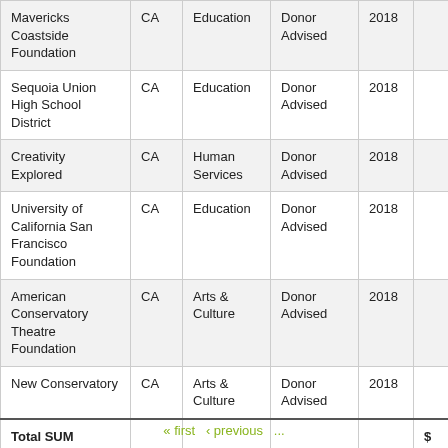|  | State | Category | Type | Year | Amount |
| --- | --- | --- | --- | --- | --- |
| Mavericks Coastside Foundation | CA | Education | Donor Advised | 2018 |  |
| Sequoia Union High School District | CA | Education | Donor Advised | 2018 |  |
| Creativity Explored | CA | Human Services | Donor Advised | 2018 |  |
| University of California San Francisco Foundation | CA | Education | Donor Advised | 2018 |  |
| American Conservatory Theatre Foundation | CA | Arts & Culture | Donor Advised | 2018 |  |
| New Conservatory | CA | Arts & Culture | Donor Advised | 2018 |  |
| Total SUM |  |  |  |  | $ |
« first  ‹ previous  ...